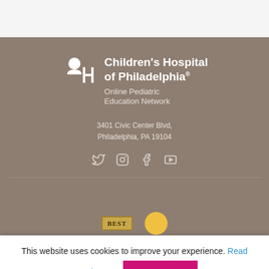[Figure (logo): Children's Hospital of Philadelphia logo with white CH icon and text 'Children's Hospital of Philadelphia® Online Pediatric Education Network' on brown background]
3401 Civic Center Blvd, Philadelphia, PA 19104
[Figure (illustration): Social media icons: Twitter, Instagram, Facebook, YouTube in light grey/white on brown background]
[Figure (illustration): Awards badges row: BEST badge and yellow circular badge]
This website uses cookies to improve your experience. Read More
ACCEPT